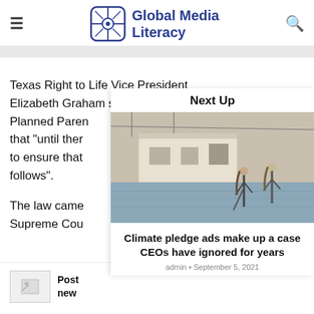Global Media Literacy
Texas Right to Life Vice President Elizabeth Graham said in a state [ment that referenced] Planned Parenthood [and noted] that "until then [Texas has a responsibility] to ensure that [the law] follows".
Next Up
[Figure (photo): Two people wading through floodwater in front of a white commercial building]
Climate pledge ads make up a case CEOs have ignored for years
admin · September 5, 2021
The law came [before the] Supreme Cou[rt]
Post [about] new [...]